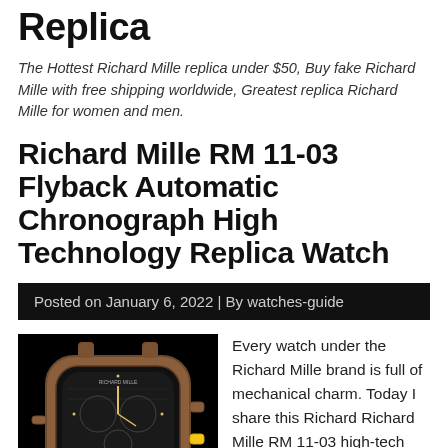Replica
The Hottest Richard Mille replica under $50, Buy fake Richard Mille with free shipping worldwide, Greatest replica Richard Mille for women and men.
Richard Mille RM 11-03 Flyback Automatic Chronograph High Technology Replica Watch
Posted on January 6, 2022 | By watches-guide
[Figure (photo): Richard Mille RM 11-03 replica watch with brown/rose gold case on black background, showing chronograph dial with exposed movement]
Every watch under the Richard Mille brand is full of mechanical charm. Today I share this Richard Richard Mille RM 11-03 high-tech replica